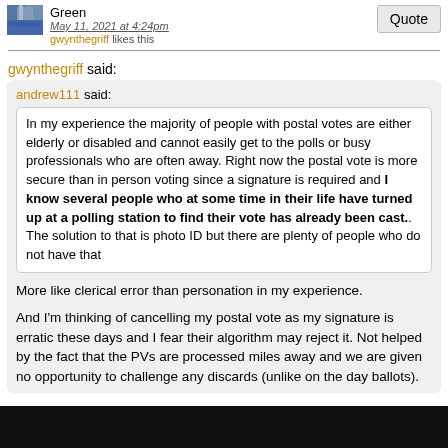Green
May 11, 2021 at 4:24pm
gwynthegriff likes this
gwynthegriff said:
andrew111 said:
In my experience the majority of people with postal votes are either elderly or disabled and cannot easily get to the polls or busy professionals who are often away. Right now the postal vote is more secure than in person voting since a signature is required and I know several people who at some time in their life have turned up at a polling station to find their vote has already been cast.. The solution to that is photo ID but there are plenty of people who do not have that
More like clerical error than personation in my experience.
And I'm thinking of cancelling my postal vote as my signature is erratic these days and I fear their algorithm may reject it. Not helped by the fact that the PVs are processed miles away and we are given no opportunity to challenge any discards (unlike on the day ballots).